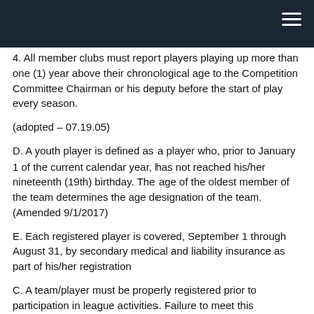4. All member clubs must report players playing up more than one (1) year above their chronological age to the Competition Committee Chairman or his deputy before the start of play every season.
(adopted – 07.19.05)
D. A youth player is defined as a player who, prior to January 1 of the current calendar year, has not reached his/her nineteenth (19th) birthday. The age of the oldest member of the team determines the age designation of the team. (Amended 9/1/2017)
E. Each registered player is covered, September 1 through August 31, by secondary medical and liability insurance as part of his/her registration
C. A team/player must be properly registered prior to participation in league activities. Failure to meet this requirement will automatically result in forfeiture of any matches played while improperly registered. The Board of Directors, at their discretion, may also take disciplinary action against team officials who knowingly allow an unregistered player to participate in league